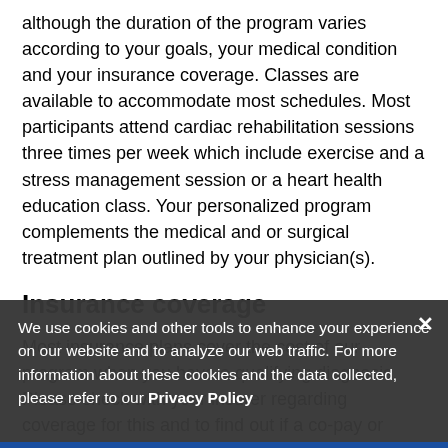although the duration of the program varies according to your goals, your medical condition and your insurance coverage. Classes are available to accommodate most schedules. Most participants attend cardiac rehabilitation sessions three times per week which include exercise and a stress management session or a heart health education class. Your personalized program complements the medical and or surgical treatment plan outlined by your physician(s).
Insurance coverage
Most insurance plans cover the cost of our program when you have a qualifying diagnosis. Please check with your insurer regarding coverage for this and to find out if a co-pay or deductible is required.
We use cookies and other tools to enhance your experience on our website and to analyze our web traffic. For more information about these cookies and the data collected, please refer to our Privacy Policy